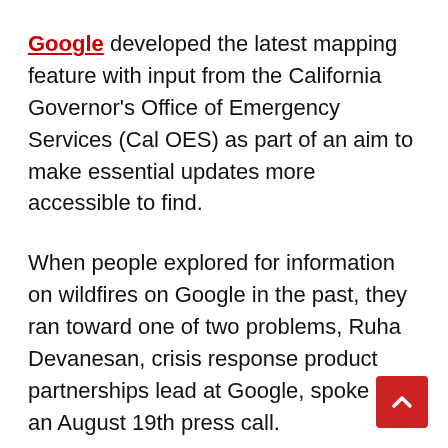Google developed the latest mapping feature with input from the California Governor's Office of Emergency Services (Cal OES) as part of an aim to make essential updates more accessible to find.
When people explored for information on wildfires on Google in the past, they ran toward one of two problems, Ruha Devanesan, crisis response product partnerships lead at Google, spoke on an August 19th press call.
There was both not enough information or too much to sort through fairly. In the latter case, speculation and unvetted sources might lead people into danger rather than safety.